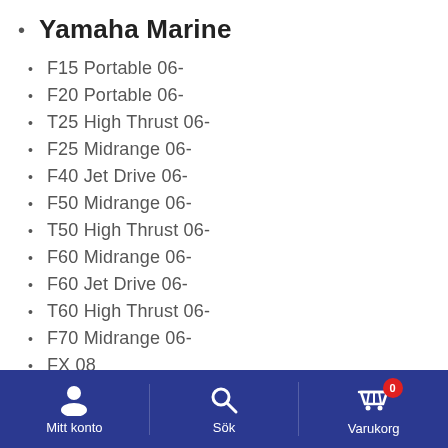Yamaha Marine
F15 Portable 06-
F20 Portable 06-
T25 High Thrust 06-
F25 Midrange 06-
F40 Jet Drive 06-
F50 Midrange 06-
T50 High Thrust 06-
F60 Midrange 06-
F60 Jet Drive 06-
T60 High Thrust 06-
F70 Midrange 06-
FX 08
FX Cruiser 08
Mitt konto  Sök  Varukorg